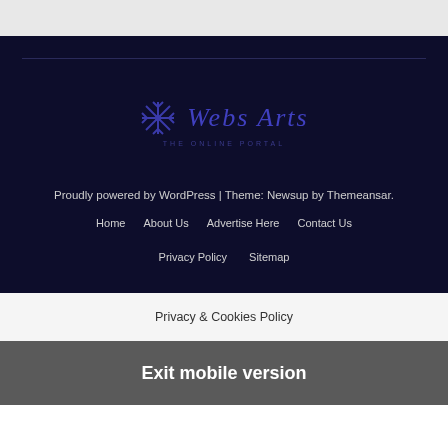[Figure (logo): Webs Arts logo with snowflake/asterisk icon and italic text 'Webs Arts' in blue/purple color]
Proudly powered by WordPress | Theme: Newsup by Themeansar.
Home
About Us
Advertise Here
Contact Us
Privacy Policy
Sitemap
Privacy & Cookies Policy
Exit mobile version